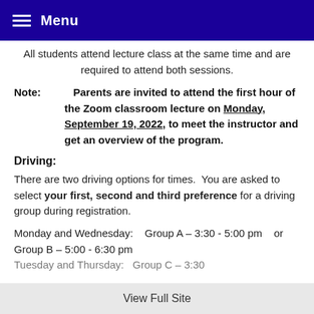Menu
All students attend lecture class at the same time and are required to attend both sessions.
Note:   Parents are invited to attend the first hour of the Zoom classroom lecture on Monday, September 19, 2022, to meet the instructor and get an overview of the program.
Driving:
There are two driving options for times.  You are asked to select your first, second and third preference for a driving group during registration.
Monday and Wednesday:    Group A – 3:30 - 5:00 pm   or   Group B – 5:00 - 6:30 pm
View Full Site